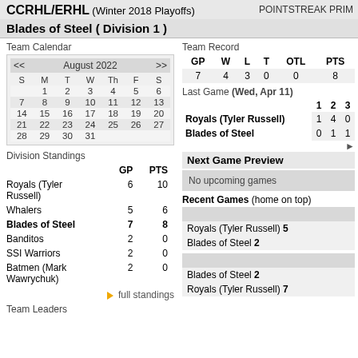CCRHL/ERHL (Winter 2018 Playoffs) POINTSTREAK PRINT
Blades of Steel ( Division 1 )
Team Calendar
| S | M | T | W | Th | F | S |
| --- | --- | --- | --- | --- | --- | --- |
|  | 1 | 2 | 3 | 4 | 5 | 6 |
| 7 | 8 | 9 | 10 | 11 | 12 | 13 |
| 14 | 15 | 16 | 17 | 18 | 19 | 20 |
| 21 | 22 | 23 | 24 | 25 | 26 | 27 |
| 28 | 29 | 30 | 31 |  |  |  |
Division Standings
|  | GP | PTS |
| --- | --- | --- |
| Royals (Tyler Russell) | 6 | 10 |
| Whalers | 5 | 6 |
| Blades of Steel | 7 | 8 |
| Banditos | 2 | 0 |
| SSI Warriors | 2 | 0 |
| Batmen (Mark Wawrychuk) | 2 | 0 |
full standings
Team Leaders
Team Record
| GP | W | L | T | OTL | PTS |
| --- | --- | --- | --- | --- | --- |
| 7 | 4 | 3 | 0 | 0 | 8 |
Last Game (Wed, Apr 11)
|  | 1 | 2 | 3 |
| --- | --- | --- | --- |
| Royals (Tyler Russell) | 1 | 4 | 0 |
| Blades of Steel | 0 | 1 | 1 |
Next Game Preview
No upcoming games
Recent Games (home on top)
Royals (Tyler Russell) 5
Blades of Steel 2
Blades of Steel 2
Royals (Tyler Russell) 7